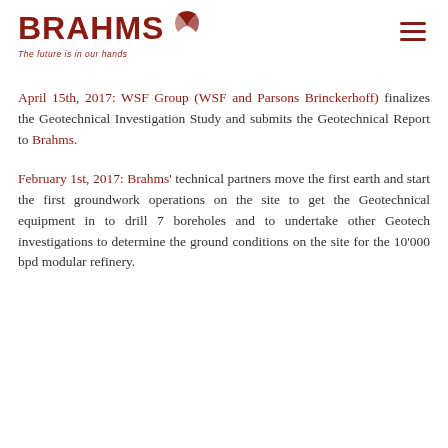BRAHMS — The future is in our hands
April 15th, 2017: WSF Group (WSF and Parsons Brinckerhoff) finalizes the Geotechnical Investigation Study and submits the Geotechnical Report to Brahms.
February 1st, 2017: Brahms' technical partners move the first earth and start the first groundwork operations on the site to get the Geotechnical equipment in to drill 7 boreholes and to undertake other Geotech investigations to determine the ground conditions on the site for the 10'000 bpd modular refinery.